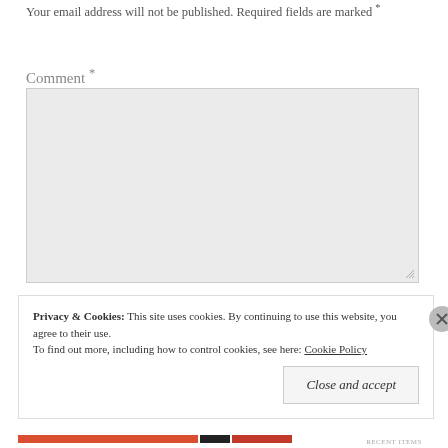Your email address will not be published. Required fields are marked *
Comment *
[Figure (other): Large empty comment textarea input box with light gray background]
Privacy & Cookies:  This site uses cookies. By continuing to use this website, you agree to their use.
To find out more, including how to control cookies, see here: Cookie Policy
Close and accept